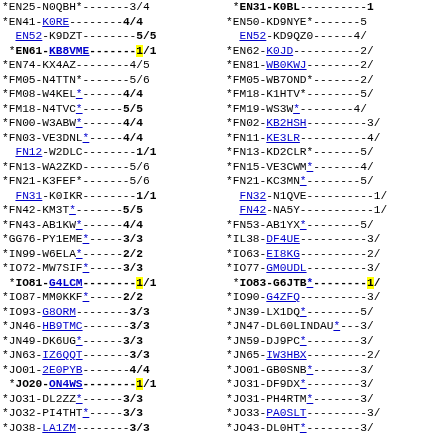Two-column list of amateur radio contest entries with call signs, operators, and scores.